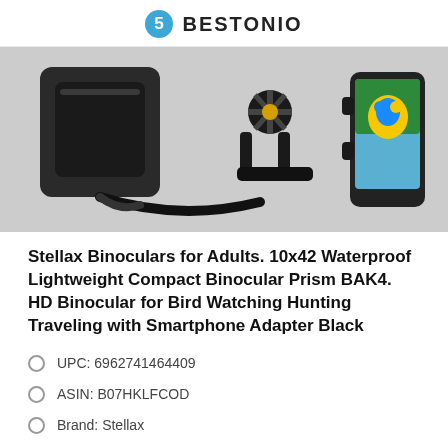BESTONIO
[Figure (photo): Product photo showing binocular accessories including a carrying case with strap, a smartphone adapter mount, and a smartphone with a colorful parrot on screen.]
Stellax Binoculars for Adults. 10x42 Waterproof Lightweight Compact Binocular Prism BAK4. HD Binocular for Bird Watching Hunting Traveling with Smartphone Adapter Black
UPC: 6962741464409
ASIN: B07HKLFCOD
Brand: Stellax
Size: 10x42
Manufacturer: Stellax